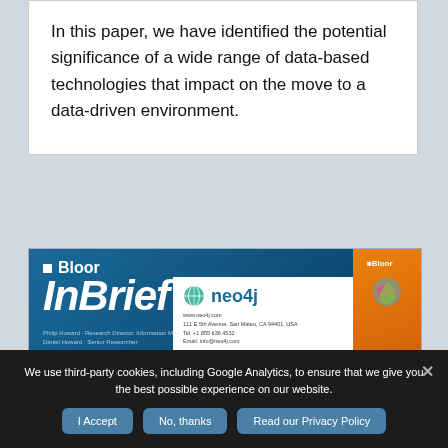In this paper, we have identified the potential significance of a wide range of data-based technologies that impact on the move to a data-driven environment.
[Figure (screenshot): Bloor InBrief document cover featuring the Neo4j company brief, with Bloor logo, 'InBrief' title, Neo4j logo, contact details, and a partial view of a chart at the bottom.]
We use third-party cookies, including Google Analytics, to ensure that we give you the best possible experience on our website.
I Accept | No, thanks | Read our Privacy Policy